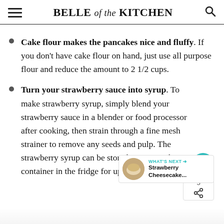BELLE of the KITCHEN
Cake flour makes the pancakes nice and fluffy. If you don't have cake flour on hand, just use all purpose flour and reduce the amount to 2 1/2 cups.
Turn your strawberry sauce into syrup. To make strawberry syrup, simply blend your strawberry sauce in a blender or food processor after cooking, then strain through a fine mesh strainer to remove any seeds and pulp. The strawberry syrup can be stored in an airtight container in the fridge for up to three weeks.